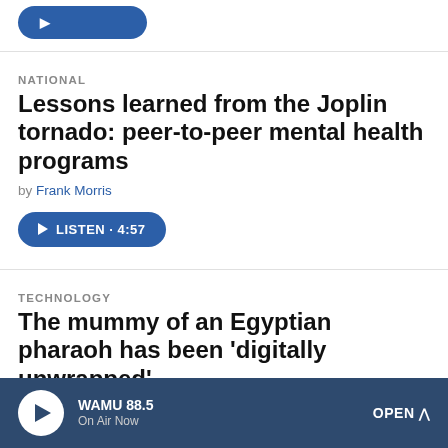[Figure (other): Blue rounded button at top of screen (partially cropped)]
NATIONAL
Lessons learned from the Joplin tornado: peer-to-peer mental health programs
by Frank Morris
[Figure (other): Blue listen button with play icon: LISTEN · 4:57]
TECHNOLOGY
The mummy of an Egyptian pharaoh has been 'digitally unwrapped'
WAMU 88.5 On Air Now   OPEN ^